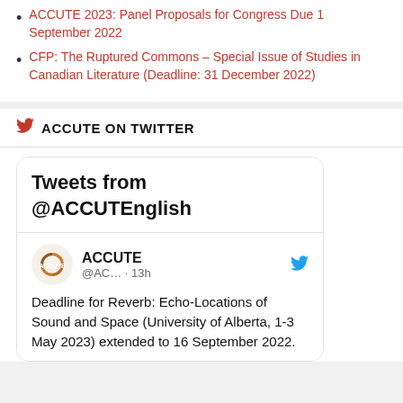ACCUTE 2023: Panel Proposals for Congress Due 1 September 2022
CFP: The Ruptured Commons – Special Issue of Studies in Canadian Literature (Deadline: 31 December 2022)
ACCUTE ON TWITTER
[Figure (screenshot): Embedded Twitter widget showing tweets from @ACCUTEnglish, including a tweet from ACCUTE (@AC... · 13h) about the deadline for Reverb: Echo-Locations of Sound and Space (University of Alberta, 1-3 May 2023) extended to 16 September 2022.]